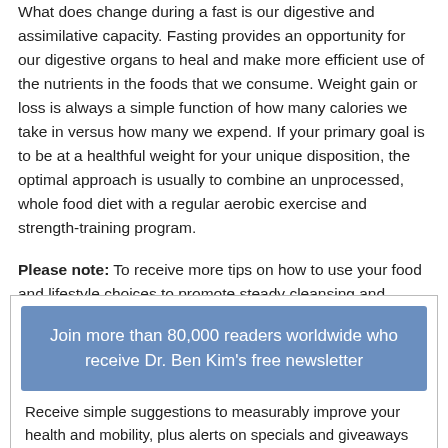What does change during a fast is our digestive and assimilative capacity. Fasting provides an opportunity for our digestive organs to heal and make more efficient use of the nutrients in the foods that we consume. Weight gain or loss is always a simple function of how many calories we take in versus how many we expend. If your primary goal is to be at a healthful weight for your unique disposition, the optimal approach is usually to combine an unprocessed, whole food diet with a regular aerobic exercise and strength-training program.
Please note: To receive more tips on how to use your food and lifestyle choices to promote steady cleansing and detoxification of your blood and tissues, please feel free to sign up for our free natural health newsletter below.
[Figure (infographic): A blue banner box with text: Join more than 80,000 readers worldwide who receive Dr. Ben Kim's free newsletter. Below it: Receive simple suggestions to measurably improve your health and mobility, plus alerts on specials and giveaways at our...]